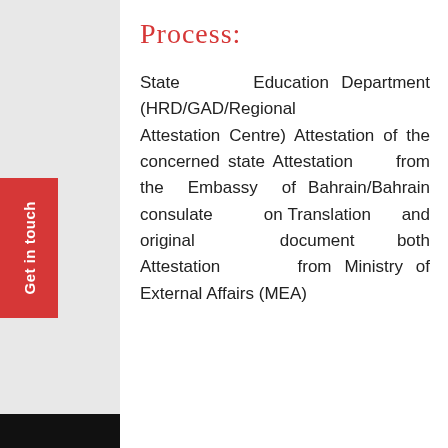Process:
State Education Department (HRD/GAD/Regional Attestation Centre) Attestation of the concerned state Attestation from the Embassy of Bahrain/Bahrain consulate on Translation and original document both Attestation from Ministry of External Affairs (MEA)